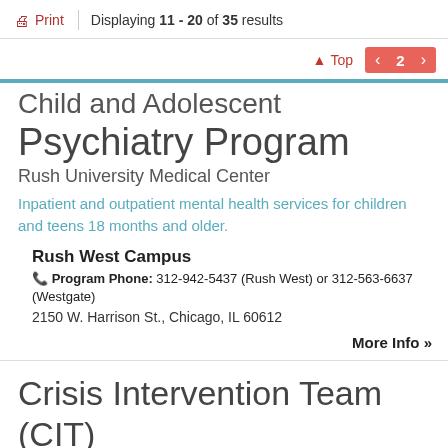Print | Displaying 11 - 20 of 35 results
Child and Adolescent Psychiatry Program
Rush University Medical Center
Inpatient and outpatient mental health services for children and teens 18 months and older.
Rush West Campus
Program Phone: 312-942-5437 (Rush West) or 312-563-6637 (Westgate)
2150 W. Harrison St., Chicago, IL 60612
More Info »
Crisis Intervention Team (CIT) Chicago Police Off...